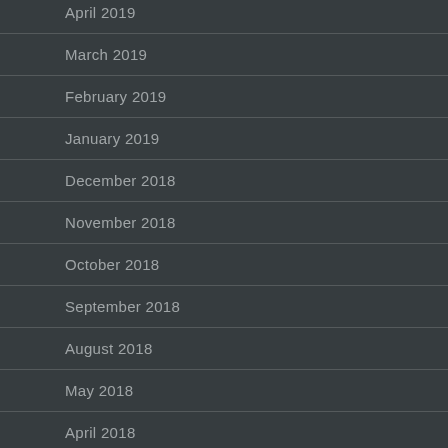April 2019
March 2019
February 2019
January 2019
December 2018
November 2018
October 2018
September 2018
August 2018
May 2018
April 2018
March 2018